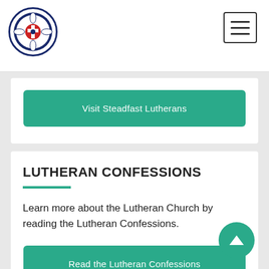Lutheran Church logo and navigation menu
Visit Steadfast Lutherans
LUTHERAN CONFESSIONS
Learn more about the Lutheran Church by reading the Lutheran Confessions.
Read the Lutheran Confessions